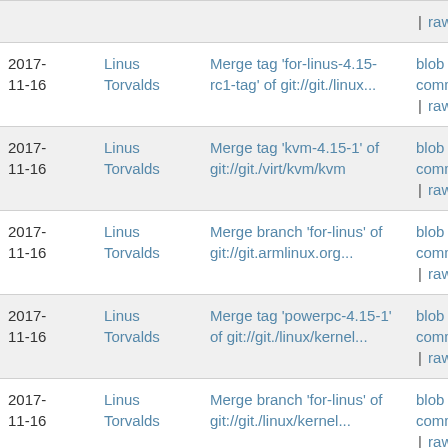| Date | Author | Commit message | Links |
| --- | --- | --- | --- |
|  |  |  | | raw |
| 2017-11-16 | Linus Torvalds | Merge tag 'for-linus-4.15-rc1-tag' of git://git./linux... | blob | commitdiff | raw |
| 2017-11-16 | Linus Torvalds | Merge tag 'kvm-4.15-1' of git://git./virt/kvm/kvm | blob | commitdiff | raw |
| 2017-11-16 | Linus Torvalds | Merge branch 'for-linus' of git://git.armlinux.org... | blob | commitdiff | raw |
| 2017-11-16 | Linus Torvalds | Merge tag 'powerpc-4.15-1' of git://git./linux/kernel... | blob | commitdiff | raw |
| 2017-11-16 | Linus Torvalds | Merge branch 'for-linus' of git://git./linux/kernel... | blob | commitdiff | raw |
| 2017-11-16 | Linus Torvalds | Merge tag 'f2fs-for-4.15-rc1' of git://git./linux/kerne... | blob | commitdiff | raw |
| 2017-11-16 | Linus Torvalds | Merge tag 'pinctrl-v4.15-1' of git://git./linux/kernel... | blob | commitdiff |